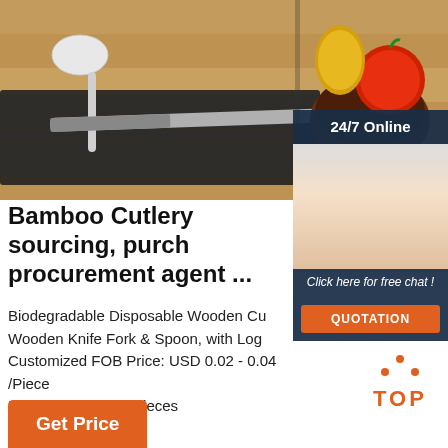[Figure (photo): Kitchen cutlery photo showing a spoon, knife, bamboo mat on wooden surface with vegetables and bowl in background]
[Figure (infographic): Sidebar showing 24/7 Online customer service representative with headset, 'Click here for free chat!' text and orange QUOTATION button]
Bamboo Cutlery sourcing, purchasing, procurement agent ...
Biodegradable Disposable Wooden Cutlery Set Wooden Knife Fork & Spoon, with Logo Printing Customized FOB Price: USD 0.02 - 0.04 /Piece Min. Order: 10000 Pieces
[Figure (logo): Orange TOP icon with dots above the letters]
Get Price